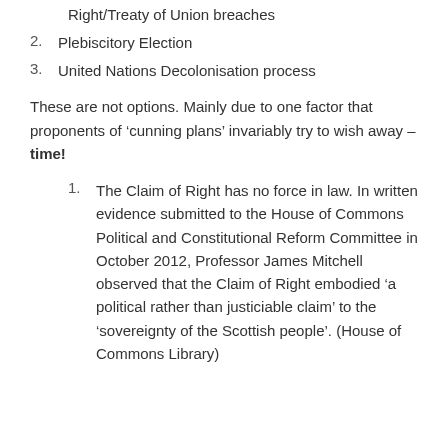1. Dissolve the Union based on claim of Right/Treaty of Union breaches
2. Plebiscitory Election
3. United Nations Decolonisation process
These are not options. Mainly due to one factor that proponents of ‘cunning plans’ invariably try to wish away – time!
1. The Claim of Right has no force in law. In written evidence submitted to the House of Commons Political and Constitutional Reform Committee in October 2012, Professor James Mitchell observed that the Claim of Right embodied ‘a political rather than justiciable claim’ to the ‘sovereignty of the Scottish people’. (House of Commons Library)